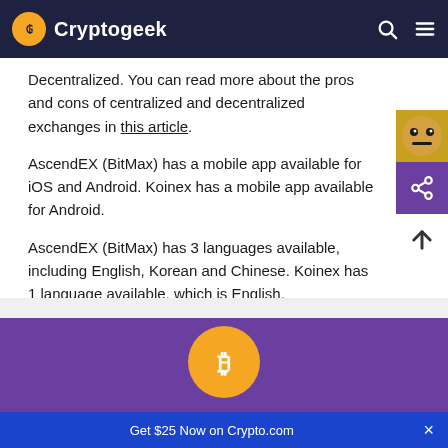Cryptogeek
Decentralized. You can read more about the pros and cons of centralized and decentralized exchanges in this article.
AscendEX (BitMax) has a mobile app available for iOS and Android. Koinex has a mobile app available for Android.
AscendEX (BitMax) has 3 languages available, including English, Korean and Chinese. Koinex has 1 language available, which is English.
Get $25 Now on Crypto.com